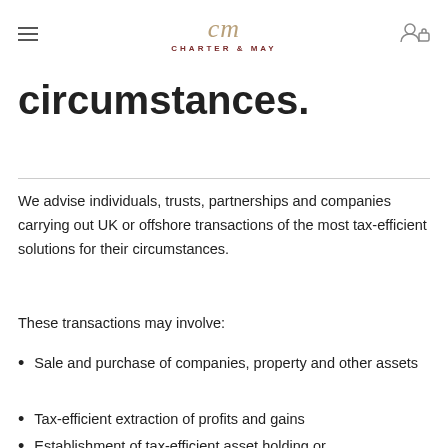Charter & May
circumstances.
We advise individuals, trusts, partnerships and companies carrying out UK or offshore transactions of the most tax-efficient solutions for their circumstances.
These transactions may involve:
Sale and purchase of companies, property and other assets
Tax-efficient extraction of profits and gains
Establishment of tax-efficient asset holding or...